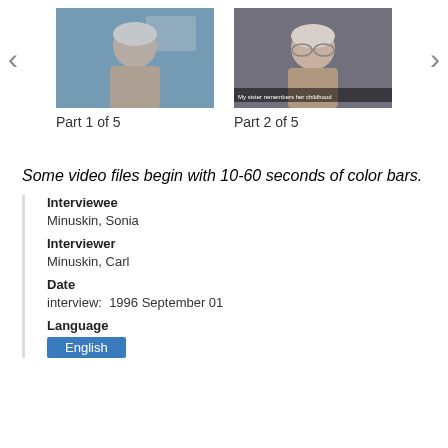[Figure (photo): Two video thumbnail images side by side. Left: elderly woman with white hair seated. Right: elderly woman with glasses and white hair. Navigation arrows on each side.]
Part 1 of 5
Part 2 of 5
Some video files begin with 10-60 seconds of color bars.
Interviewee
Minuskin, Sonia
Interviewer
Minuskin, Carl
Date
interview:  1996 September 01
Language
English